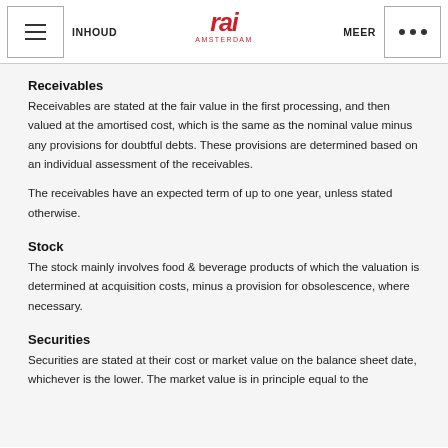INHOUD | RAI AMSTERDAM | MEER
Receivables
Receivables are stated at the fair value in the first processing, and then valued at the amortised cost, which is the same as the nominal value minus any provisions for doubtful debts. These provisions are determined based on an individual assessment of the receivables.
The receivables have an expected term of up to one year, unless stated otherwise.
Stock
The stock mainly involves food & beverage products of which the valuation is determined at acquisition costs, minus a provision for obsolescence, where necessary.
Securities
Securities are stated at their cost or market value on the balance sheet date, whichever is the lower. The market value is in principle equal to the